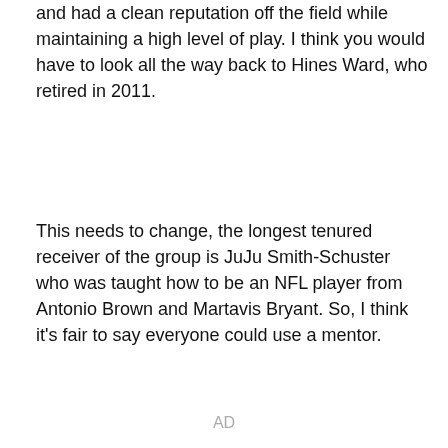and had a clean reputation off the field while maintaining a high level of play. I think you would have to look all the way back to Hines Ward, who retired in 2011.
This needs to change, the longest tenured receiver of the group is JuJu Smith-Schuster who was taught how to be an NFL player from Antonio Brown and Martavis Bryant. So, I think it's fair to say everyone could use a mentor.
AD